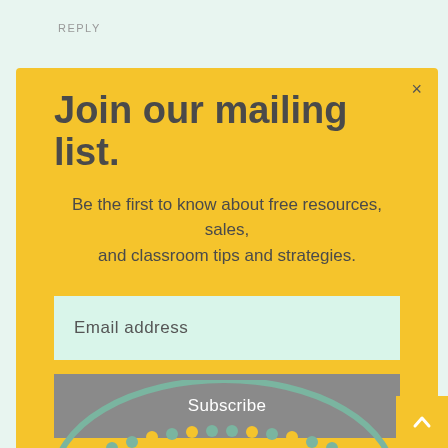REPLY
Join our mailing list.
Be the first to know about free resources, sales, and classroom tips and strategies.
Email address
Subscribe
[Figure (illustration): Partial circular decorative graphic visible at bottom of page with teal/green and yellow dot pattern]